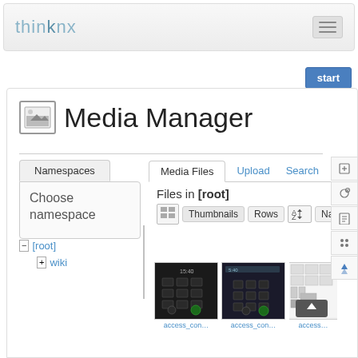thinknx
[Figure (screenshot): Media Manager interface showing Namespaces panel, Media Files tab with Thumbnails/Rows/Name view options, Files in [root] with thumbnail images of access_con files, tree showing [root] and wiki, and right sidebar icons.]